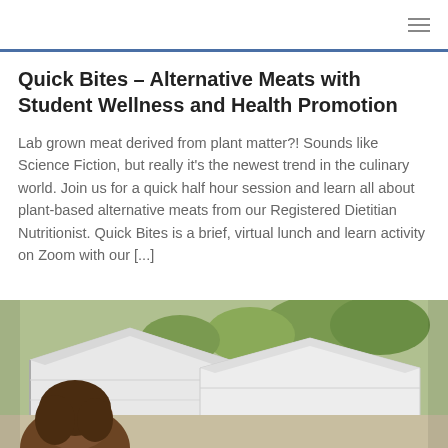Quick Bites – Alternative Meats with Student Wellness and Health Promotion
Lab grown meat derived from plant matter?! Sounds like Science Fiction, but really it's the newest trend in the culinary world. Join us for a quick half hour session and learn all about plant-based alternative meats from our Registered Dietitian Nutritionist. Quick Bites is a brief, virtual lunch and learn activity on Zoom with our [...]
[Figure (photo): Outdoor market scene with white tent canopies and a person with brown hair viewed from behind in the foreground]